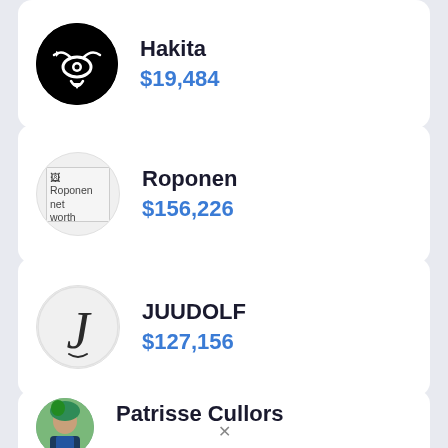[Figure (other): Card for Hakita showing a black circular logo with a stylized eye/camera icon and net worth]
Hakita
$19,484
[Figure (other): Card for Roponen showing a broken image placeholder and net worth]
Roponen
$156,226
[Figure (other): Card for JUUDOLF showing a stylized J letter avatar and net worth]
JUUDOLF
$127,156
[Figure (other): Partial card for Patrisse Cullors showing a photo of person with green hair]
Patrisse Cullors